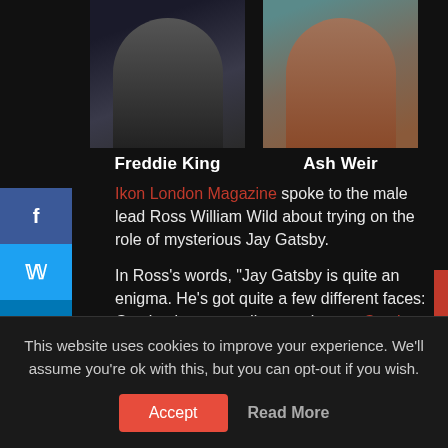[Figure (photo): Two photos side by side: left photo shows Freddie King (person in dark jacket), right photo shows Ash Weir (person in reddish/brown top)]
Freddie King   Ash Weir
Ikon London Magazine spoke to the male lead Ross William Wild about trying on the role of mysterious Jay Gatsby.

In Ross's words, "Jay Gatsby is quite an enigma. He's got quite a few different faces: Gatsby the upstanding gentleman; Gatsby the little boy; Gatsby the gangster...
This website uses cookies to improve your experience. We'll assume you're ok with this, but you can opt-out if you wish.
Accept   Read More